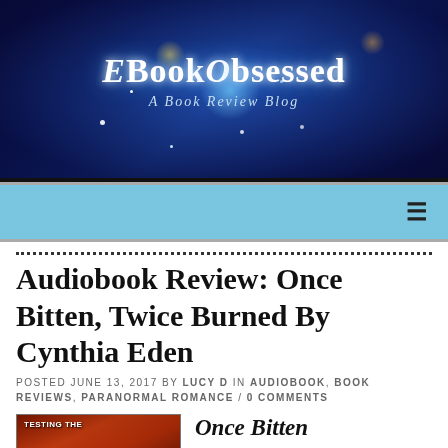[Figure (illustration): EBookObsessed blog banner with fantasy/magical blue background, woman with wolf, castle, dragon, glowing letters. Text reads 'EBookObsessed — A Book Review Blog']
EBookObsessed — A Book Review Blog
Audiobook Review: Once Bitten, Twice Burned By Cynthia Eden
POSTED JUNE 13, 2017 BY LUCY D IN AUDIOBOOK, BOOK REVIEWS, PARANORMAL ROMANCE / 0 COMMENTS
[Figure (photo): Partial book cover image for 'Once Bitten, Twice Burned' showing fiery/dark fantasy imagery with text 'TESTING THE']